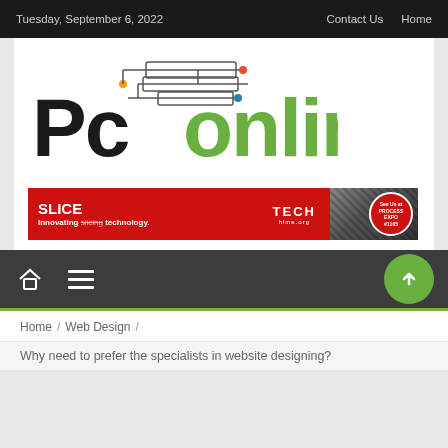Tuesday, September 6, 2022   Contact Us   Home
[Figure (logo): Pc online logo with circuit board lines graphic above text. 'Pc' in black bold sans-serif, 'online' in green bold sans-serif.]
[Figure (infographic): Banner advertisement: SLICE - Innovating slicing technology. TECH logo in center. See us at PROCESS EXPO #1165 badge on right. Red background with machinery image on right side.]
Home icon, hamburger menu icon, up arrow button
Home / Web Design /
Why need to prefer the specialists in website designing?